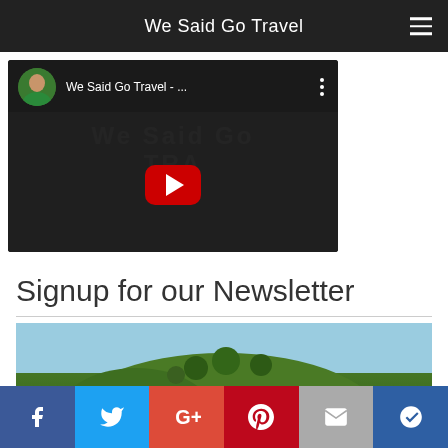We Said Go Travel
[Figure (screenshot): YouTube video embed for 'We Said Go Travel' with profile avatar, video title, play button on dark background]
Signup for our Newsletter
[Figure (photo): Green tropical island hill with trees against a light sky]
[Figure (infographic): Social media share bar with Facebook, Twitter, Google+, Pinterest, Email, and Bloglovin buttons]